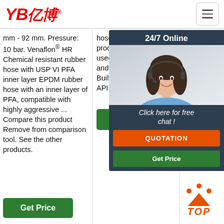YB亿博 logo and navigation
mm - 92 mm. Pressure: 10 bar. Venaflon® HR Chemical resistant rubber hose with USP VI PFA inner layer EPDM rubber hose with an inner layer of PFA, compatible with highly aggressive ... Compare this product Remove from comparison tool. See the other products.
hoses for oil & gas production fluid transfer, used as offshore topside and subsea jumpers. Built according to the API 17K standard.
0.688 Length (Ft) 50 W... Pre... 300 Cor x M Tem 190 Tem Col Size...
[Figure (screenshot): 24/7 Online chat widget with customer service representative photo, 'Click here for free chat!' text, and QUOTATION button]
[Figure (other): TOP navigation button with orange dots and triangle icon]